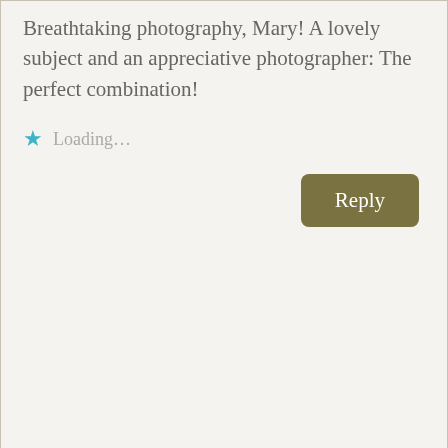Breathtaking photography, Mary! A lovely subject and an appreciative photographer: The perfect combination!
★ Loading…
Reply
Cynthia Raines
September 19, 2015 at 8:44 am
Privacy & Cookies: This site uses cookies. By continuing to use this website, you agree to their use.
To find out more, including how to control cookies, see here:
Cookie Policy
Close and accept
pictures are incredible. I'm off now to